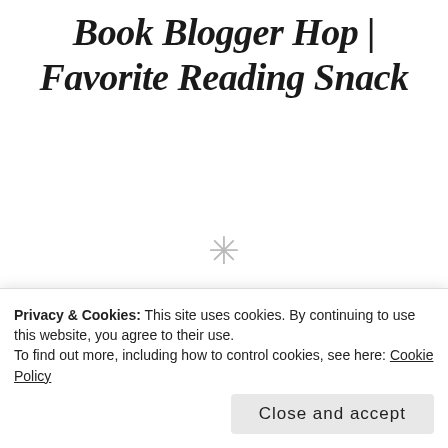Book Blogger Hop | Favorite Reading Snack
[Figure (logo): Book Blogger Hop Halloween Edition badge/logo with orange and dark brown colors. Text reads BOOK BLOGGER in large stylized letters with Halloween Can Edition text.]
The Book Blog
Privacy & Cookies: This site uses cookies. By continuing to use this website, you agree to their use.
To find out more, including how to control cookies, see here: Cookie Policy
Close and accept